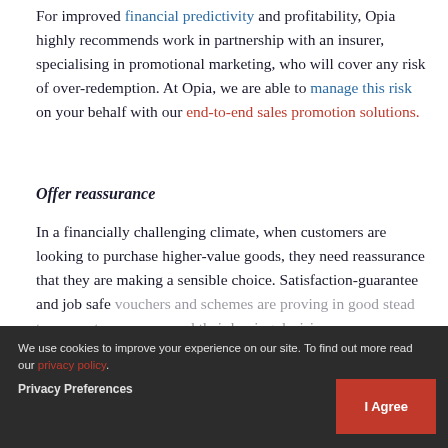For improved financial predictivity and profitability, Opia highly recommends work in partnership with an insurer, specialising in promotional marketing, who will cover any risk of over-redemption. At Opia, we are able to manage this risk on your behalf with our end-to-end sales promotion solutions.
Offer reassurance
In a financially challenging climate, when customers are looking to purchase higher-value goods, they need reassurance that they are making a sensible choice. Satisfaction-guarantee and job safe vouchers and schemes are proving in good stead to support consumers and their buying decision.
Increase buyer confidence through satisfaction-guarantee sales promotions. Particularly useful for
We use cookies to improve your experience on our site. To find out more read our privacy policy.
Privacy Preferences
I Agree